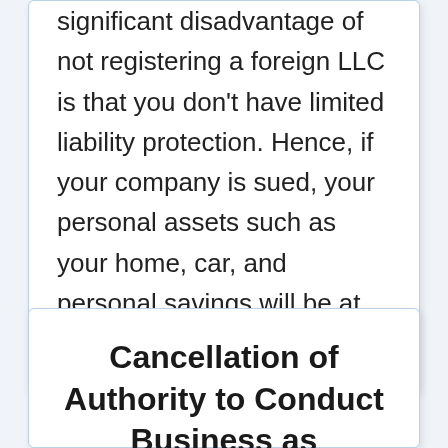significant disadvantage of not registering a foreign LLC is that you don't have limited liability protection. Hence, if your company is sued, your personal assets such as your home, car, and personal savings will be at risk.
Cancellation of Authority to Conduct Business as